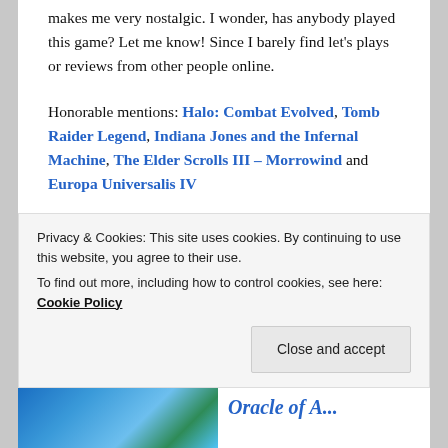makes me very nostalgic. I wonder, has anybody played this game? Let me know! Since I barely find let's plays or reviews from other people online.
Honorable mentions: Halo: Combat Evolved, Tomb Raider Legend, Indiana Jones and the Infernal Machine, The Elder Scrolls III – Morrowind and Europa Universalis IV
Favorite Gameboy/Gameboy Color soundtrack: The Legend Of Zelda – Oracle Of Ages & Oracle of Seasons aka The Oracle Games
Privacy & Cookies: This site uses cookies. By continuing to use this website, you agree to their use.
To find out more, including how to control cookies, see here: Cookie Policy
Close and accept